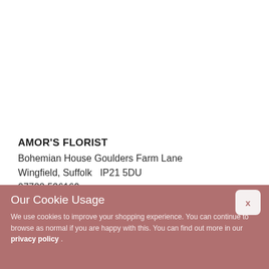AMOR'S FLORIST
Bohemian House Goulders Farm Lane
Wingfield, Suffolk  IP21 5DU
07722 536169
Our Cookie Usage
We use cookies to improve your shopping experience. You can continue to browse as normal if you are happy with this. You can find out more in our privacy policy .